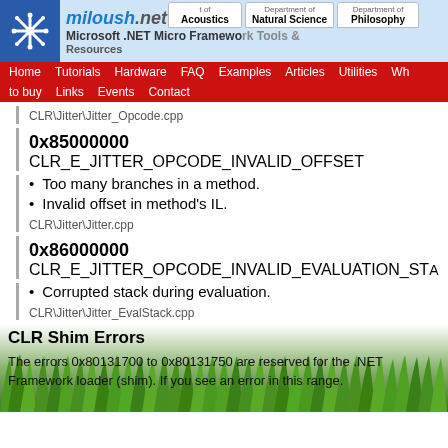miloush.net — Microsoft .NET Micro Framework Tools & Resources
CLR\Jitter\Jitter_Opcode.cpp
0x85000000
CLR_E_JITTER_OPCODE_INVALID_OFFSET
Too many branches in a method.
Invalid offset in method's IL.
CLR\Jitter\Jitter.cpp
0x86000000
CLR_E_JITTER_OPCODE_INVALID_EVALUATION_ST...
Corrupted stack during evaluation.
CLR\Jitter\Jitter_EvalStack.cpp
CLR Shim Errors
The errors 0x80131700 to 0x80131750 are reserved for the .NET Framework loader (shim). If you see an error in this range.